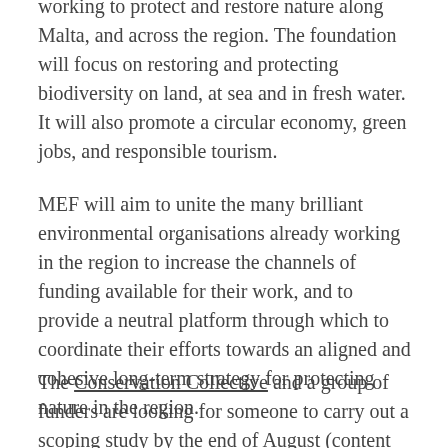working to protect and restore nature along Malta, and across the region. The foundation will focus on restoring and protecting biodiversity on land, at sea and in fresh water. It will also promote a circular economy, green jobs, and responsible tourism.
MEF will aim to unite the many brilliant environmental organisations already working in the region to increase the channels of funding available for their work, and to provide a neutral platform through which to coordinate their efforts towards an aligned and cohesive long-term strategy for protecting nature in the region.
The Conservation Collective and a group of funders are looking for someone to carry out a scoping study by the end of August (content outline attached) and to potentially take on the role of full-time Executive Director